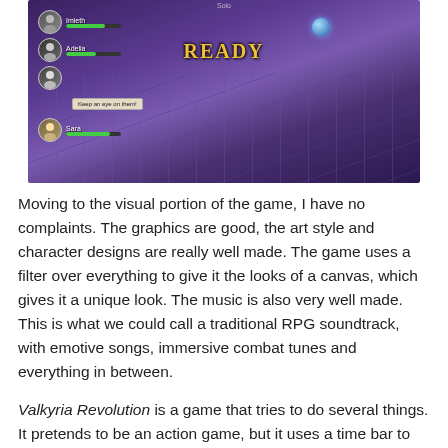[Figure (screenshot): A video game screenshot from Valkyria Revolution showing a battle scene with character UI on the left showing characters (Imieth, Adelia, Sara) with health bars, a dialogue box reading 'Keep an eye on them!', a blue orb in the upper area, a 'READY' golden text in the center, and a purple-toned tiled floor environment.]
Moving to the visual portion of the game, I have no complaints. The graphics are good, the art style and character designs are really well made. The game uses a filter over everything to give it the looks of a canvas, which gives it a unique look. The music is also very well made. This is what we could call a traditional RPG soundtrack, with emotive songs, immersive combat tunes and everything in between.
Valkyria Revolution is a game that tries to do several things. It pretends to be an action game, but it uses a time bar to determine the order of combat. It has a lot of different characters, but it doesn't know what to do with them. It tries to create this big narrative but the end is